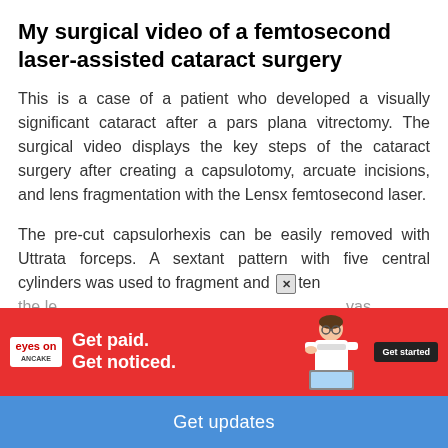My surgical video of a femtosecond laser-assisted cataract surgery
This is a case of a patient who developed a visually significant cataract after a pars plana vitrectomy. The surgical video displays the key steps of the cataract surgery after creating a capsulotomy, arcuate incisions, and lens fragmentation with the Lensx femtosecond laser.
The pre-cut capsulorhexis can be easily removed with Uttrata forceps. A sextant pattern with five central cylinders was used to fragment and [X] ten the le[ns...] was then u[sed for...] tical
[Figure (other): Advertisement banner overlay: eyesON logo on red background with text 'Get paid. Get noticed.' with illustration of doctor/physician and 'Get started' button]
Get updates